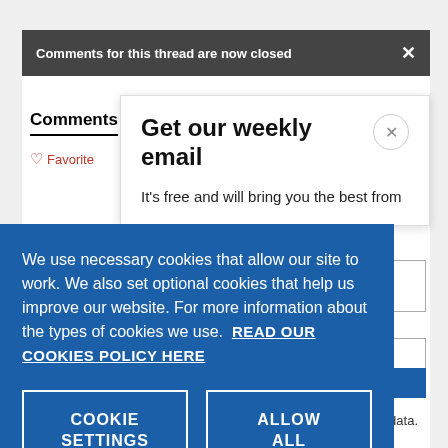Comments for this thread are now closed
Comments
Favorite
Get our weekly email
It's free and will bring you the best from
We use necessary cookies that allow our site to work. We also set optional cookies that help us improve our website. For more information about the types of cookies we use. READ OUR COOKIES POLICY HERE
COOKIE SETTINGS
ALLOW ALL COOKIES
data.